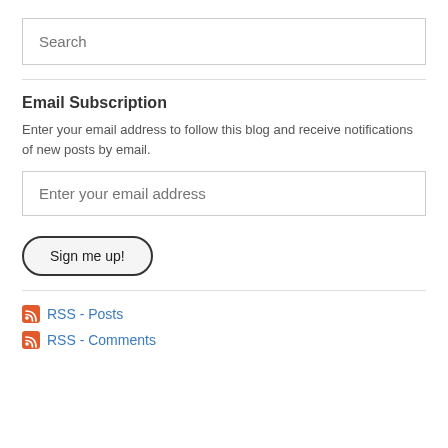Search
Email Subscription
Enter your email address to follow this blog and receive notifications of new posts by email.
Enter your email address
Sign me up!
RSS - Posts
RSS - Comments